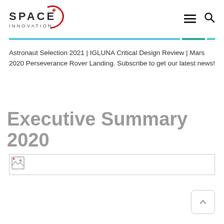SPACE INNOVATION
Astronaut Selection 2021 | IGLUNA Critical Design Review | Mars 2020 Perseverance Rover Landing. Subscribe to get our latest news!
Executive Summary 2020
[Figure (photo): Broken image placeholder for an article or document image related to Executive Summary 2020]